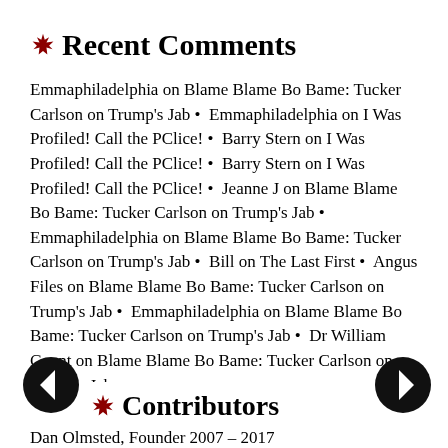Recent Comments
Emmaphiladelphia on Blame Blame Bo Bame: Tucker Carlson on Trump's Jab • Emmaphiladelphia on I Was Profiled! Call the PClice! • Barry Stern on I Was Profiled! Call the PClice! • Barry Stern on I Was Profiled! Call the PClice! • Jeanne J on Blame Blame Bo Bame: Tucker Carlson on Trump's Jab • Emmaphiladelphia on Blame Blame Bo Bame: Tucker Carlson on Trump's Jab • Bill on The Last First • Angus Files on Blame Blame Bo Bame: Tucker Carlson on Trump's Jab • Emmaphiladelphia on Blame Blame Bo Bame: Tucker Carlson on Trump's Jab • Dr William Gaunt on Blame Blame Bo Bame: Tucker Carlson on Trump's Jab
Contributors
Dan Olmsted, Founder 2007 – 2017